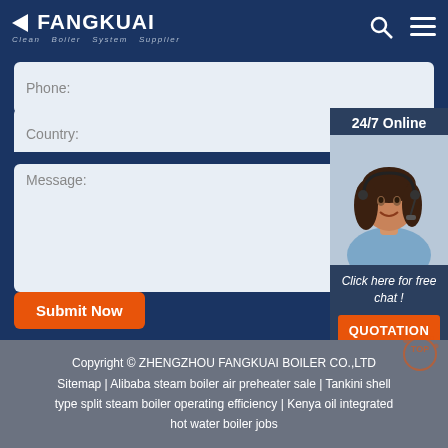[Figure (logo): Fangkuai logo with left-pointing arrow and text 'Clean Boiler System Supplier']
Phone:
Country:
24/7 Online
[Figure (photo): Customer service agent woman with headset smiling]
Click here for free chat !
QUOTATION
Message:
Submit Now
Copyright © ZHENGZHOU FANGKUAI BOILER CO.,LTD
Sitemap | Alibaba steam boiler air preheater sale | Tankini shell type split steam boiler operating efficiency | Kenya oil integrated hot water boiler jobs